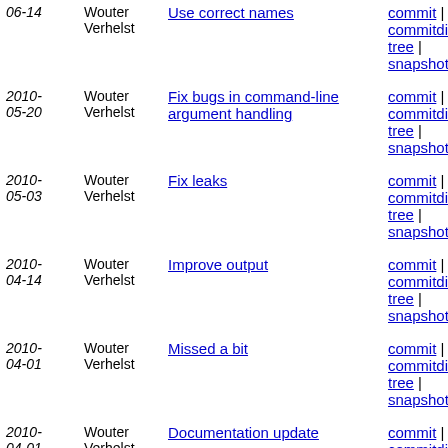| Date | Author | Message | Links |
| --- | --- | --- | --- |
| 2010-06-14 | Wouter Verhelst | Use correct names | commit | commitdiff | tree | snapshot |
| 2010-05-20 | Wouter Verhelst | Fix bugs in command-line argument handling | commit | commitdiff | tree | snapshot |
| 2010-05-03 | Wouter Verhelst | Fix leaks | commit | commitdiff | tree | snapshot |
| 2010-04-14 | Wouter Verhelst | Improve output | commit | commitdiff | tree | snapshot |
| 2010-04-01 | Wouter Verhelst | Missed a bit | commit | commitdiff | tree | snapshot |
| 2010-04-01 | Wouter Verhelst | Documentation update | commit | commitdiff | tree | snapshot |
| 2010-03-24 | Wouter Verhelst | Release 2.9.15 | commit | commitdiff | tree | snapshot |
next
Network Block Device userspace code
RSS Atom